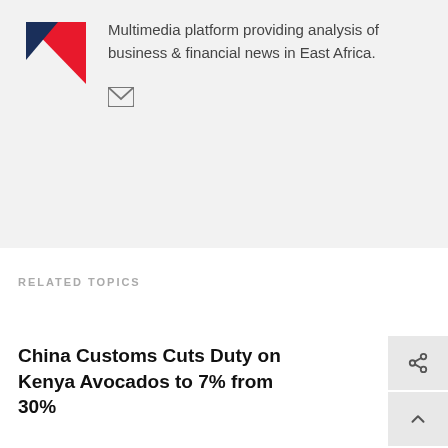[Figure (logo): Red geometric logo (triangle/arrow shape) for a multimedia financial news platform]
Multimedia platform providing analysis of business & financial news in East Africa.
[Figure (other): Email envelope icon]
RELATED TOPICS
China Customs Cuts Duty on Kenya Avocados to 7% from 30%